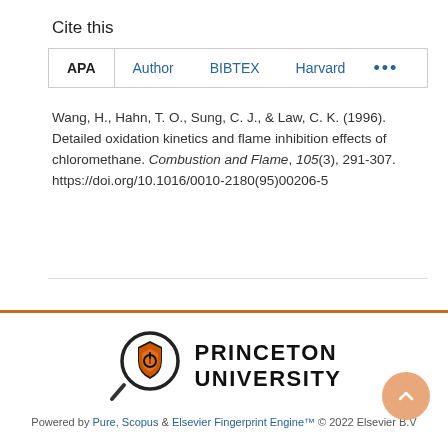Cite this
APA  Author  BIBTEX  Harvard  ...
Wang, H., Hahn, T. O., Sung, C. J., & Law, C. K. (1996). Detailed oxidation kinetics and flame inhibition effects of chloromethane. Combustion and Flame, 105(3), 291-307. https://doi.org/10.1016/0010-2180(95)00206-5
[Figure (logo): Princeton University logo with magnifying glass icon containing a shield, next to bold text reading PRINCETON UNIVERSITY]
Powered by Pure, Scopus & Elsevier Fingerprint Engine™ © 2022 Elsevier B.V